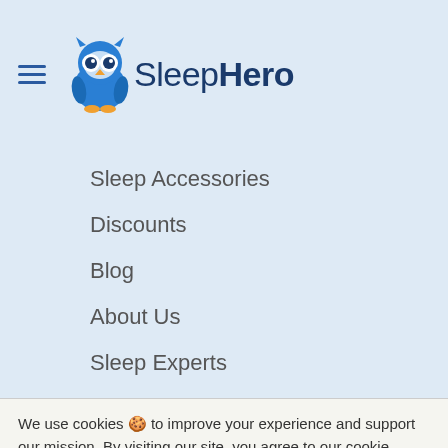[Figure (logo): SleepHero logo with blue owl mascot and hamburger menu icon]
Sleep Accessories
Discounts
Blog
About Us
Sleep Experts
We use cookies 🍪 to improve your experience and support our mission. By visiting our site, you agree to our cookie policy. Data protection and privacy
I accept